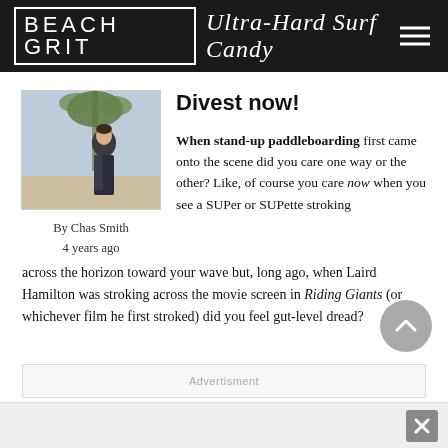BEACH GRIT Ultra-Hard Surf Candy
[Figure (photo): Author photo of Chas Smith, man in dark jacket outdoors with palm tree in background]
By Chas Smith
4 years ago
Divest now!
When stand-up paddleboarding first came onto the scene did you care one way or the other? Like, of course you care now when you see a SUPer or SUPette stroking across the horizon toward your wave but, long ago, when Laird Hamilton was stroking across the movie screen in Riding Giants (or whichever film he first stroked) did you feel gut-level dread?
Advertisment